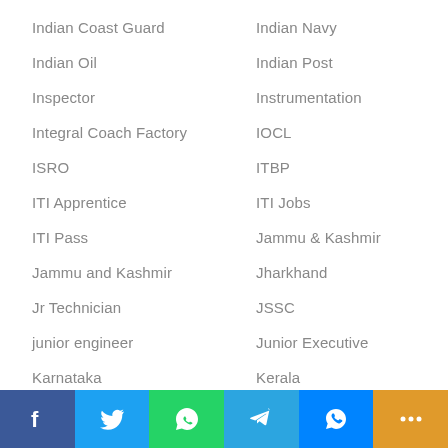Indian Coast Guard
Indian Navy
Indian Oil
Indian Post
Inspector
Instrumentation
Integral Coach Factory
IOCL
ISRO
ITBP
ITI Apprentice
ITI Jobs
ITI Pass
Jammu & Kashmir
Jammu and Kashmir
Jharkhand
Jr Technician
JSSC
junior engineer
Junior Executive
Karnataka
Kerala
Konkan Railway
KPSC
Lab Assistant
Lab Technician